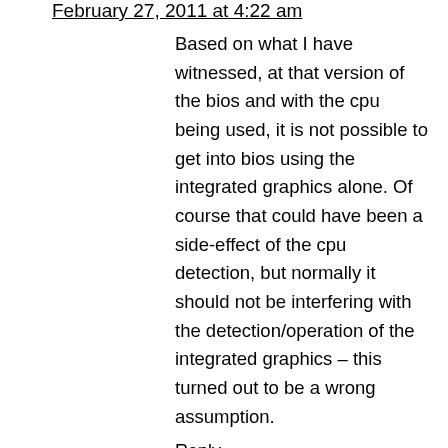February 27, 2011 at 4:22 am
Based on what I have witnessed, at that version of the bios and with the cpu being used, it is not possible to get into bios using the integrated graphics alone. Of course that could have been a side-effect of the cpu detection, but normally it should not be interfering with the detection/operation of the integrated graphics – this turned out to be a wrong assumption.
Reply
deven says:
June 22, 2011 at 3:47 pm
hi,
i have intel 945gccr. I am facing no display problem. Moreover no beeps heard in normal